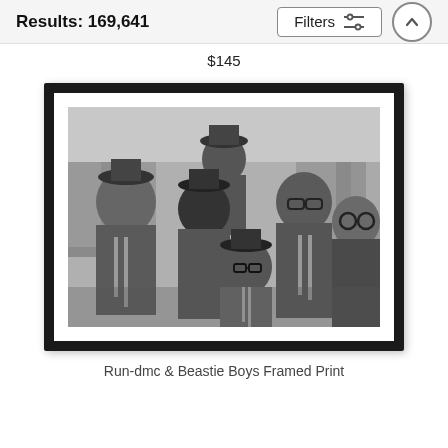Results: 169,641
$145
[Figure (photo): Black and white framed photograph of Run-DMC and Beastie Boys posing together on a rooftop in New York City. Six men in casual 1980s hip-hop attire including NY baseball cap, chain necklaces, hats, and sunglasses.]
Run-dmc & Beastie Boys Framed Print